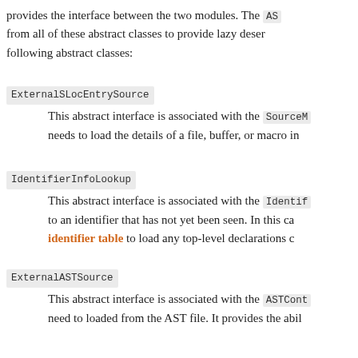provides the interface between the two modules. The AS... from all of these abstract classes to provide lazy deser... following abstract classes:
ExternalSLocEntrySource
This abstract interface is associated with the SourceM... needs to load the details of a file, buffer, or macro in...
IdentifierInfoLookup
This abstract interface is associated with the Identif... to an identifier that has not yet been seen. In this ca... identifier table to load any top-level declarations c...
ExternalASTSource
This abstract interface is associated with the ASTCont... need to loaded from the AST file. It provides the abil... numeric values, read the bodies of functions when re... context (either for iteration or for name lookup).
ExternalSemaSource
This abstract interface is associated with the Sema cla... information from the global method pool.